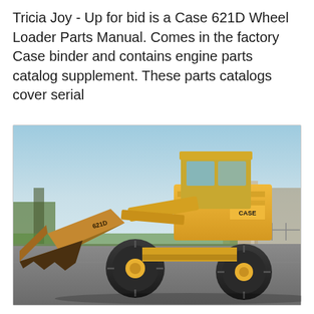Tricia Joy - Up for bid is a Case 621D Wheel Loader Parts Manual. Comes in the factory Case binder and contains engine parts catalog supplement. These parts catalogs cover serial
[Figure (photo): A yellow Case 621D wheel loader with a large front bucket, parked on a paved surface with buildings and trees visible in the background under a blue sky.]